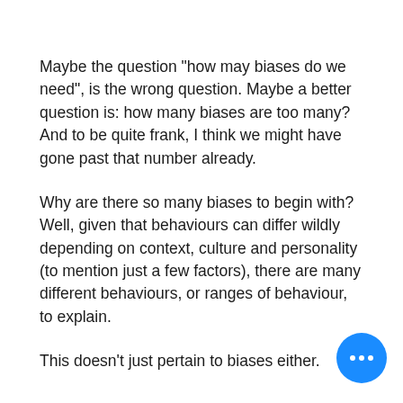Maybe the question "how may biases do we need", is the wrong question. Maybe a better question is: how many biases are too many? And to be quite frank, I think we might have gone past that number already.
Why are there so many biases to begin with? Well, given that behaviours can differ wildly depending on context, culture and personality (to mention just a few factors), there are many different behaviours, or ranges of behaviour, to explain.
This doesn't just pertain to biases either.
[Figure (other): Blue circular floating action button with three white dots (ellipsis) in the bottom-right corner of the page]